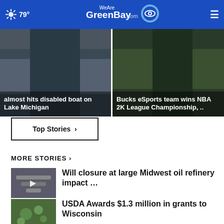79° WeAreGreenBay.com
[Figure (screenshot): Left story card: news image of Lake Michigan with overlaid bold white text 'almost hits disabled boat on Lake Michigan']
[Figure (screenshot): Right story card: image of Bucks eSports with overlaid bold white text 'Bucks eSports team wins NBA 2K League Championship, ..']
Top Stories ›
MORE STORIES ›
[Figure (photo): Thumbnail of tools/equipment for Midwest oil refinery story, with play icon overlay]
Will closure at large Midwest oil refinery impact …
[Figure (photo): Thumbnail of plants/gardening for USDA story]
USDA Awards $1.3 million in grants to Wisconsin